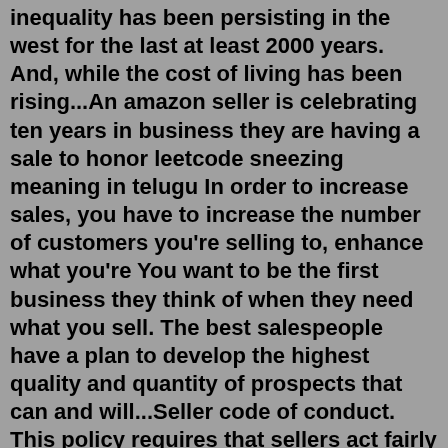inequality has been persisting in the west for the last at least 2000 years. And, while the cost of living has been rising...An amazon seller is celebrating ten years in business they are having a sale to honor leetcode sneezing meaning in telugu In order to increase sales, you have to increase the number of customers you're selling to, enhance what you're You want to be the first business they think of when they need what you sell. The best salespeople have a plan to develop the highest quality and quantity of prospects that can and will...Seller code of conduct. This policy requires that sellers act fairly and honestly on Amazon to ensure a safe buying and selling experience. All sellers must: Provide accurate information to Amazon and our customers at all times. Not attempt to damage or abuse another Seller, their listings or ratings. Not attempt to influence customers ... Arrival Scan It says it is still on-time for delivery on 10/12, but I am not in KY so I doubt that it will make it... really curious why the main tracking window says 'held in warehouse'